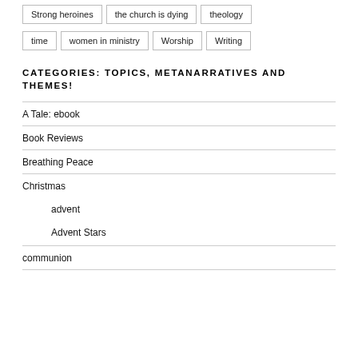Strong heroines
the church is dying
theology
time
women in ministry
Worship
Writing
CATEGORIES: TOPICS, METANARRATIVES AND THEMES!
A Tale: ebook
Book Reviews
Breathing Peace
Christmas
advent
Advent Stars
communion